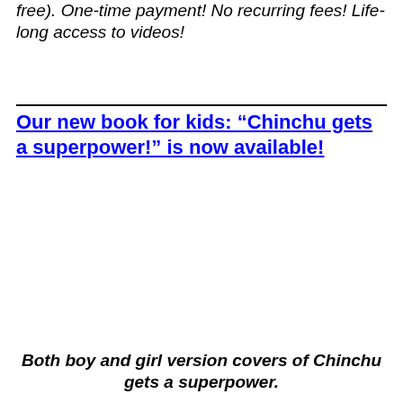free). One-time payment! No recurring fees! Life-long access to videos!
Our new book for kids: “Chinchu gets a superpower!” is now available!
Both boy and girl version covers of Chinchu gets a superpower.